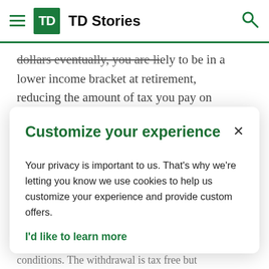TD Stories
dollars eventually, you are likely to be in a lower income bracket at retirement, reducing the amount of tax you pay on
Customize your experience
Your privacy is important to us. That's why we're letting you know we use cookies to help us customize your experience and provide custom offers.
I'd like to learn more
conditions. The withdrawal is tax free but